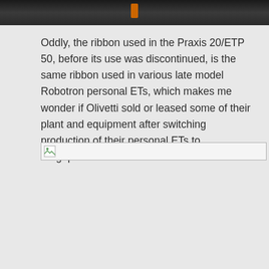[Figure (photo): Dark/black header image with an orange cylindrical object visible in the center top area]
Oddly, the ribbon used in the Praxis 20/ETP 50, before its use was discontinued, is the same ribbon used in various late model Robotron personal ETs, which makes me wonder if Olivetti sold or leased some of their plant and equipment after switching production of their personal ETs to Singapore?
[Figure (photo): Broken/missing image placeholder]